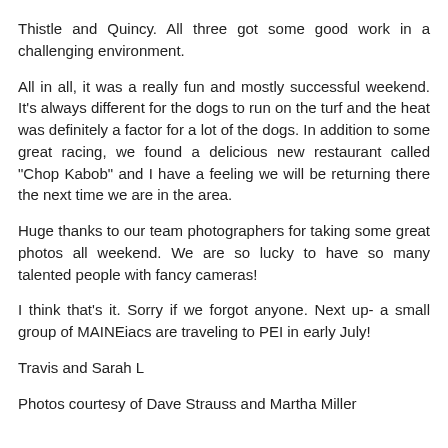Thistle and Quincy. All three got some good work in a challenging environment.
All in all, it was a really fun and mostly successful weekend. It's always different for the dogs to run on the turf and the heat was definitely a factor for a lot of the dogs. In addition to some great racing, we found a delicious new restaurant called "Chop Kabob" and I have a feeling we will be returning there the next time we are in the area.
Huge thanks to our team photographers for taking some great photos all weekend. We are so lucky to have so many talented people with fancy cameras!
I think that's it. Sorry if we forgot anyone. Next up- a small group of MAINEiacs are traveling to PEI in early July!
Travis and Sarah L
Photos courtesy of Dave Strauss and Martha Miller